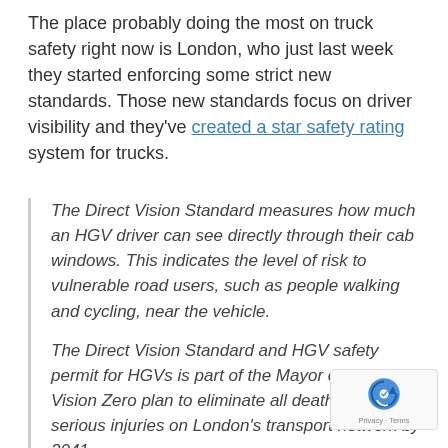The place probably doing the most on truck safety right now is London, who just last week they started enforcing some strict new standards. Those new standards focus on driver visibility and they've created a star safety rating system for trucks.
The Direct Vision Standard measures how much an HGV driver can see directly through their cab windows. This indicates the level of risk to vulnerable road users, such as people walking and cycling, near the vehicle.
The Direct Vision Standard and HGV safety permit for HGVs is part of the Mayor of London's Vision Zero plan to eliminate all deaths and serious injuries on London's transport network by 2041.